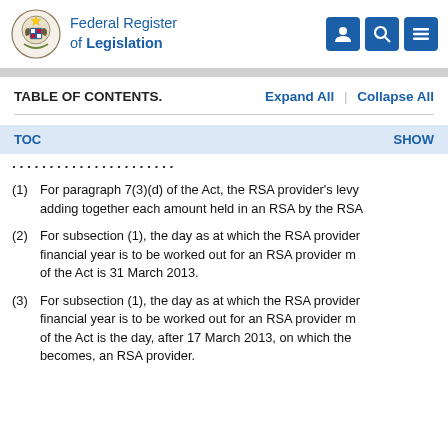Federal Register of Legislation
TABLE OF CONTENTS.
TOC   SHOW
(1) For paragraph 7(3)(d) of the Act, the RSA provider's levy adding together each amount held in an RSA by the RSA
(2) For subsection (1), the day as at which the RSA provider financial year is to be worked out for an RSA provider m of the Act is 31 March 2013.
(3) For subsection (1), the day as at which the RSA provider financial year is to be worked out for an RSA provider m of the Act is the day, after 17 March 2013, on which the becomes, an RSA provider.